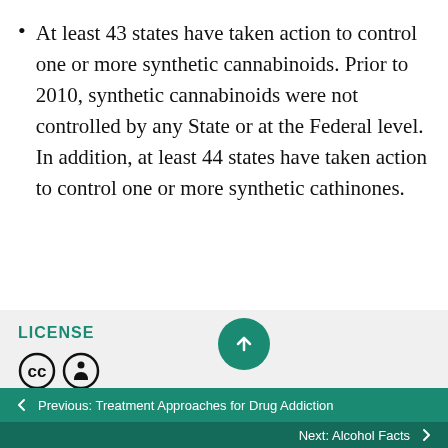At least 43 states have taken action to control one or more synthetic cannabinoids. Prior to 2010, synthetic cannabinoids were not controlled by any State or at the Federal level.  In addition, at least 44 states have taken action to control one or more synthetic cathinones.
LICENSE
[Figure (illustration): Creative Commons license icons: CC circle icon and attribution (person) icon]
[Figure (illustration): Scroll-to-top button: teal circle with upward arrow]
← Previous: Treatment Approaches for Drug Addiction
Next: Alcohol Facts →